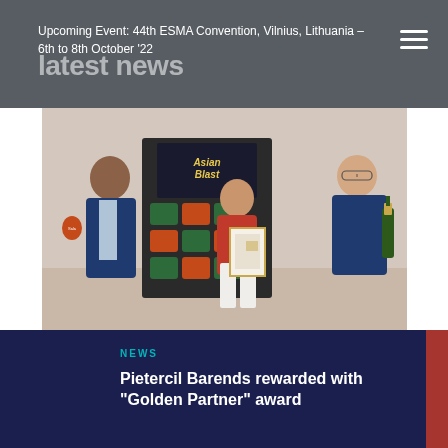Upcoming Event: 44th ESMA Convention, Vilnius, Lithuania – 6th to 8th October '22
latest news
[Figure (photo): Three people standing in front of a product display featuring 'Asian Blast' branded snack cups (Sala brand). The person on the left holds a snack cup, the woman in the middle holds a framed award certificate, and the man on the right holds a champagne bottle.]
NEWS
Pietercil Barends rewarded with "Golden Partner" award